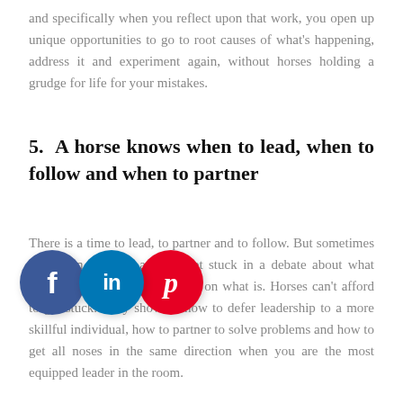and specifically when you reflect upon that work, you open up unique opportunities to go to root causes of what's happening, address it and experiment again, without horses holding a grudge for life for your mistakes.
5. A horse knows when to lead, when to follow and when to partner
There is a time to lead, to partner and to follow. But sometimes we get in the way and we get stuck in a debate about what should be, rather than focusing on what is. Horses can't afford to get stuck. They show us how to defer leadership to a more skillful individual, how to partner to solve problems and how to get all noses in the same direction when you are the most equipped leader in the room.
[Figure (other): Three overlapping social media share buttons: Facebook (blue circle with 'f'), LinkedIn (light blue circle with 'in'), Pinterest (red circle with 'p' script logo)]